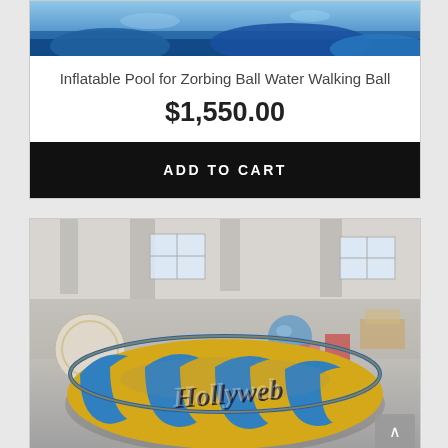[Figure (photo): Top portion of a blue inflatable water product image]
Inflatable Pool for Zorbing Ball Water Walking Ball
$1,550.00
ADD TO CART
[Figure (photo): Large blue and yellow striped inflatable pool on floor of warehouse with 'Hollyweb' branding text, zorbing/water walking balls visible in background]